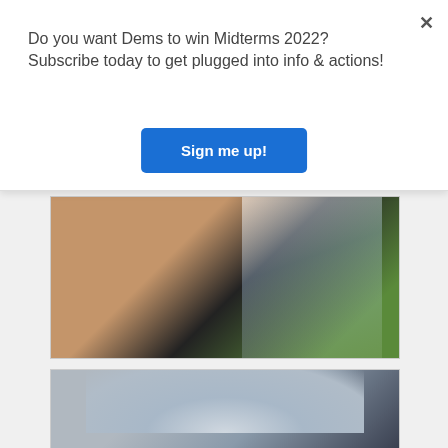Do you want Dems to win Midterms 2022?Subscribe today to get plugged into info & actions!
Sign me up!
[Figure (photo): Close-up photo of a person's neck and shoulder area wearing a dark/black top with reflective surface, with green foliage visible in background]
[Figure (photo): Partial photo showing the top of a person's head with gray/white hair]